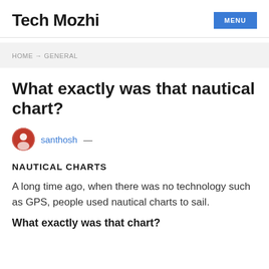Tech Mozhi
HOME → GENERAL
What exactly was that nautical chart?
santhosh —
NAUTICAL CHARTS
A long time ago, when there was no technology such as GPS, people used nautical charts to sail.
What exactly was that chart?